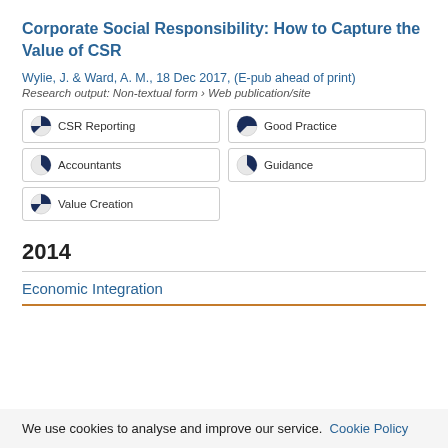Corporate Social Responsibility: How to Capture the Value of CSR
Wylie, J. & Ward, A. M., 18 Dec 2017, (E-pub ahead of print)
Research output: Non-textual form › Web publication/site
CSR Reporting
Good Practice
Accountants
Guidance
Value Creation
2014
Economic Integration
We use cookies to analyse and improve our service. Cookie Policy